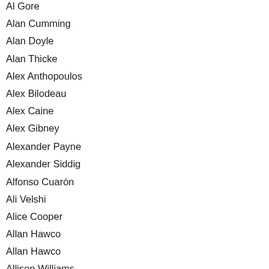Al Gore
Alan Cumming
Alan Doyle
Alan Thicke
Alex Anthopoulos
Alex Bilodeau
Alex Caine
Alex Gibney
Alexander Payne
Alexander Siddig
Alfonso Cuarón
Ali Velshi
Alice Cooper
Allan Hawco
Allan Hawco
Allison Williams
Alphonse MacNeil